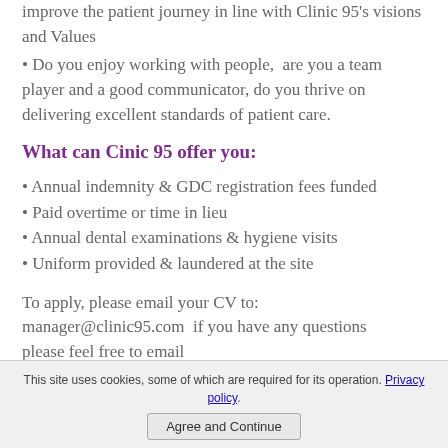improve the patient journey in line with Clinic 95's visions and Values
• Do you enjoy working with people,  are you a team player and a good communicator, do you thrive on delivering excellent standards of patient care.
What can Cinic 95 offer you:
• Annual indemnity & GDC registration fees funded
• Paid overtime or time in lieu
• Annual dental examinations & hygiene visits
• Uniform provided & laundered at the site
To apply, please email your CV to: manager@clinic95.com  if you have any questions please feel free to email
This site uses cookies, some of which are required for its operation. Privacy policy